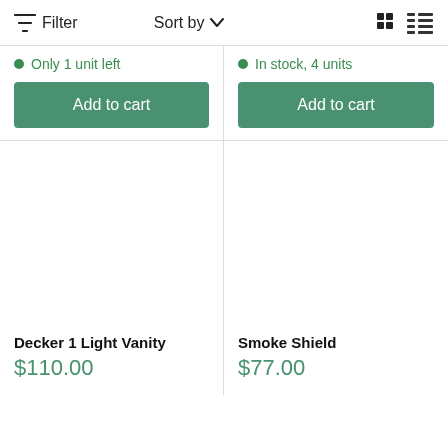Filter   Sort by   [grid view] [list view]
Only 1 unit left
Add to cart
In stock, 4 units
Add to cart
[Figure (other): Empty product image area for Decker 1 Light Vanity]
Decker 1 Light Vanity
$110.00
[Figure (other): Empty product image area for Smoke Shield]
Smoke Shield
$77.00